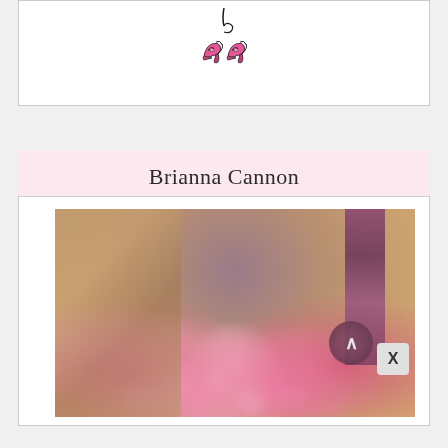[Figure (illustration): Pink high-heel shoe charm pendant on a black cord/string — a decorative jewelry logo illustration]
Brianna Cannon
[Figure (photo): Close-up photograph of pink roses and white baby's breath flowers with a blurred brown and purple draped fabric background. A dark circular scroll-to-top button and an X close button are overlaid in the bottom-right corner.]